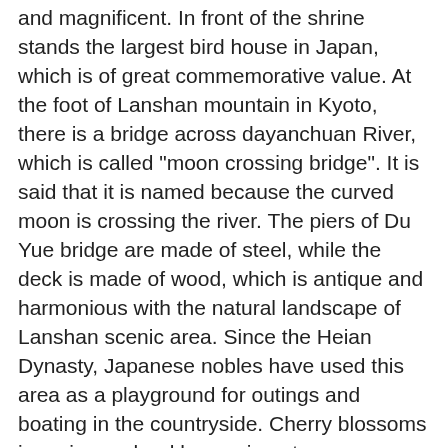and magnificent. In front of the shrine stands the largest bird house in Japan, which is of great commemorative value. At the foot of Lanshan mountain in Kyoto, there is a bridge across dayanchuan River, which is called "moon crossing bridge". It is said that it is named because the curved moon is crossing the river. The piers of Du Yue bridge are made of steel, while the deck is made of wood, which is antique and harmonious with the natural landscape of Lanshan scenic area. Since the Heian Dynasty, Japanese nobles have used this area as a playground for outings and boating in the countryside. Cherry blossoms in spring and red leaves in autumn are so beautiful that people feel like going back in time. In the morning, afternoon and evening, Lijia royal or equivalent three Osaka Q Sapporo ~ dengbie ~ digaogu (enjoy red leaves in early October to mid October) ~ seafood market ~ Muran earth Cape ~ Youzhu volcano ~ Zhaohe new mountain ~ Yangti snow mountain ~ Dongye Lake ~ hot spring Osaka Q SAPPORO (flying 1 hour and 50 minutes) arrive, then go to dengbie ~ dengbie digaogu (30 minutes' drive, about 20 minutes' stay), Seafood market (about two hours by car). The seafood traded here are fresh products just caught. There are many kinds of seafood. Lunch (60 minutes) ...